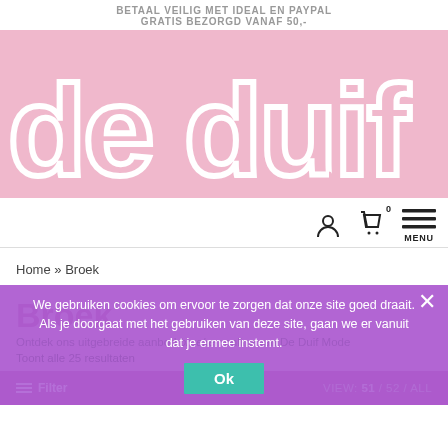BETAAL VEILIG MET IDEAL EN PAYPAL
GRATIS BEZORGD VANAF 50,-
[Figure (logo): De Duif logo – large white hollow block letters 'de duif' on a pink background]
[Figure (infographic): Navigation bar with user icon, shopping bag icon with badge '0', and hamburger menu icon labeled MENU]
Home » Broek
Broek
Ontdek ons uitgebreide aanbod broeken online van De Duif Mode
Toont alle 25 resultaten
We gebruiken cookies om ervoor te zorgen dat onze site goed draait. Als je doorgaat met het gebruiken van deze site, gaan we er vanuit dat je ermee instemt.
VIEW: 51 / 52 / ALL